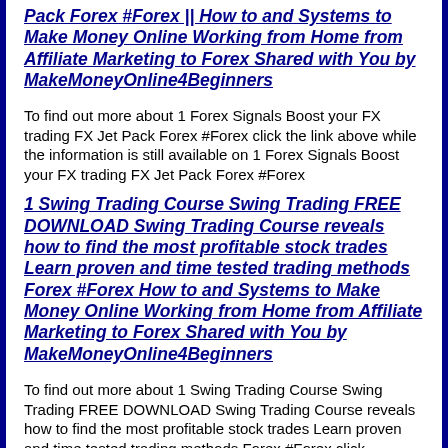Pack Forex #Forex || How to and Systems to Make Money Online Working from Home from Affiliate Marketing to Forex Shared with You by MakeMoneyOnline4Beginners
To find out more about 1 Forex Signals Boost your FX trading FX Jet Pack Forex #Forex click the link above while the information is still available on 1 Forex Signals Boost your FX trading FX Jet Pack Forex #Forex
1 Swing Trading Course Swing Trading FREE DOWNLOAD Swing Trading Course reveals how to find the most profitable stock trades Learn proven and time tested trading methods Forex #Forex How to and Systems to Make Money Online Working from Home from Affiliate Marketing to Forex Shared with You by MakeMoneyOnline4Beginners
To find out more about 1 Swing Trading Course Swing Trading FREE DOWNLOAD Swing Trading Course reveals how to find the most profitable stock trades Learn proven and time tested trading methods Forex #Forex click